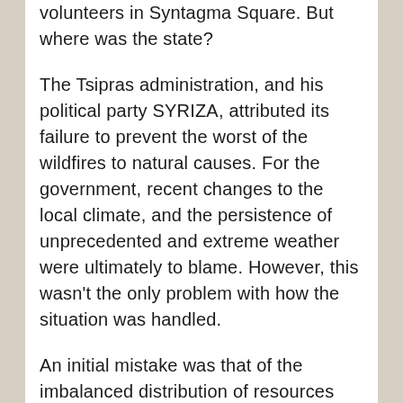volunteers in Syntagma Square. But where was the state?
The Tsipras administration, and his political party SYRIZA, attributed its failure to prevent the worst of the wildfires to natural causes. For the government, recent changes to the local climate, and the persistence of unprecedented and extreme weather were ultimately to blame. However, this wasn't the only problem with how the situation was handled.
An initial mistake was that of the imbalanced distribution of resources within the Greek fire department. More than 150 firemen, 60 vehicles, 2 helicopters and 20 aquifers were sent to Kineta, around 8pm on the 23d of July. However, the paradox of the situation